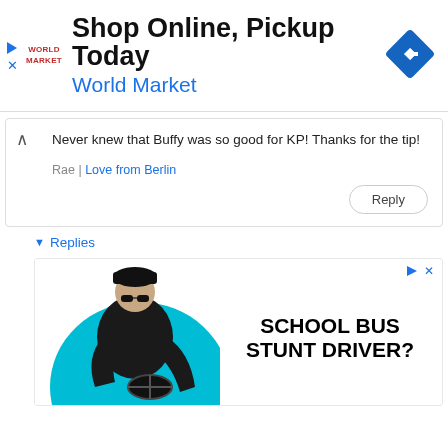[Figure (screenshot): World Market advertisement banner: logo on left, 'Shop Online, Pickup Today' heading, 'World Market' subtitle in blue, blue diamond navigation icon on right, play and close icons on far left]
Never knew that Buffy was so good for KP! Thanks for the tip!
Rae | Love from Berlin
Reply
▼ Replies
[Figure (screenshot): School Bus Stunt Driver advertisement: man in leather jacket and sunglasses sitting on a blue circle background, text 'SCHOOL BUS STUNT DRIVER?' on right side, ad icons top right]